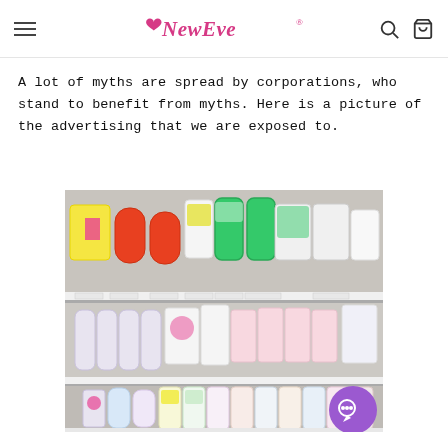NewEve (logo with hamburger menu, search and cart icons)
A lot of myths are spread by corporations, who stand to benefit from myths. Here is a picture of the advertising that we are exposed to.
[Figure (photo): A retail store shelf display showing multiple feminine hygiene and personal care products arranged across three shelves, including wipes, washes, and creams with colorful packaging.]